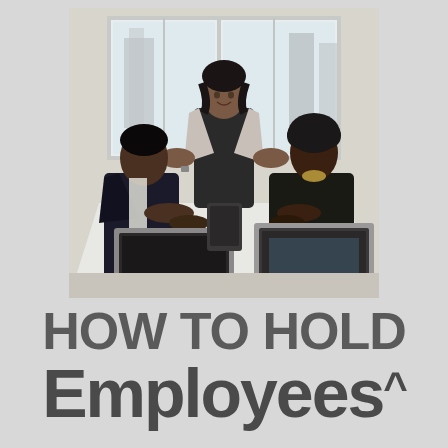[Figure (photo): Three women in a modern office meeting room. One woman stands at the head of a long white table with hands on hips, wearing a blazer and black outfit. Two other women sit at the table with laptops open, one on each side. Large windows with city view are in the background.]
HOW TO HOLD Employees^